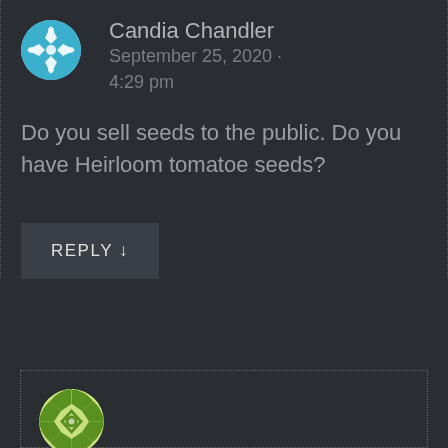[Figure (illustration): Avatar circle for Candia Chandler with blue/white snowflake pattern]
Candia Chandler
September 25, 2020 · 4:29 pm
Do you sell seeds to the public. Do you have Heirloom tomatoe seeds?
REPLY ↓
[Figure (illustration): Avatar circle for elizabethmhoover with green/white checkerboard ball pattern]
elizabethmhoover
September 27, 2020 · 10:11 pm
Hi Candia, this blog is